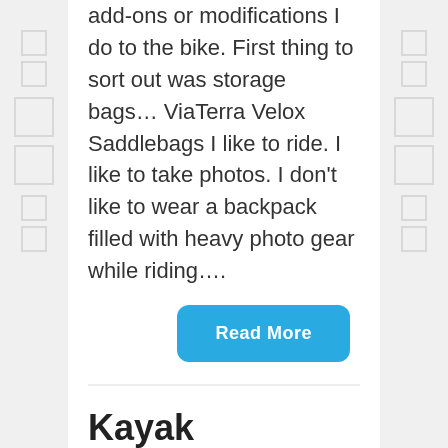add-ons or modifications I do to the bike. First thing to sort out was storage bags… ViaTerra Velox Saddlebags I like to ride. I like to take photos. I don't like to wear a backpack filled with heavy photo gear while riding….
Read More
Kayak camping, Wooli, NSW
POSTED ON JAN 27, 2015
Since buying my first kayak a couple of years ago, I've always